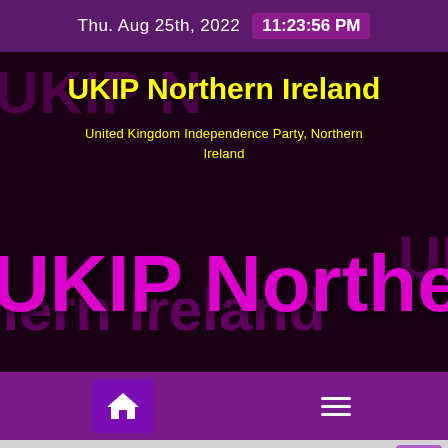Thu. Aug 25th, 2022   11:23:56 PM
[Figure (screenshot): UKIP Northern Ireland website banner with yellow title text 'UKIP Northern Ireland', subtitle 'United Kingdom Independence Party, Northern Ireland', and large purple 'UKIP Northern' text overlaid on a dark background with repeated purple watermark text.]
UKIP Northern Ireland
United Kingdom Independence Party, Northern Ireland
Navigation bar with home icon and menu icon